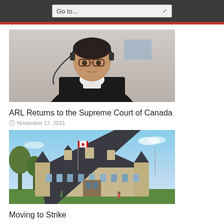Go to...
[Figure (photo): Person wearing judicial robes and headset with glasses, appearing via video conference]
ARL Returns to the Supreme Court of Canada
November 17, 2021
[Figure (photo): Supreme Court of Canada building exterior with Canadian flag]
Moving to Strike